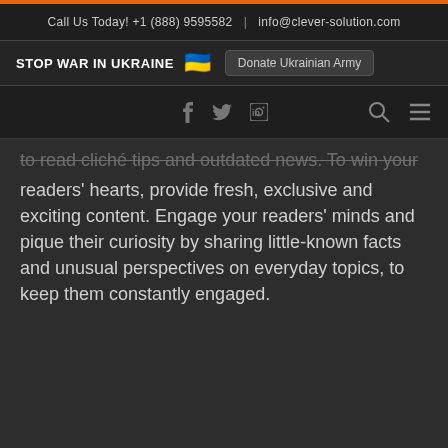Call Us Today! +1 (888) 9595582  |  info@clever-solution.com
STOP WAR IN UKRAINE  🇺🇦  Donate Ukrainian Army
[Figure (screenshot): Navigation bar with social media icons (f, twitter bird, in), search icon, and hamburger menu icon]
to read cliché tips and outdated news. To win your readers' hearts, provide fresh, exclusive and exciting content. Engage your readers' minds and pique their curiosity by sharing little-known facts and unusual perspectives on everyday topics, to keep them constantly engaged.